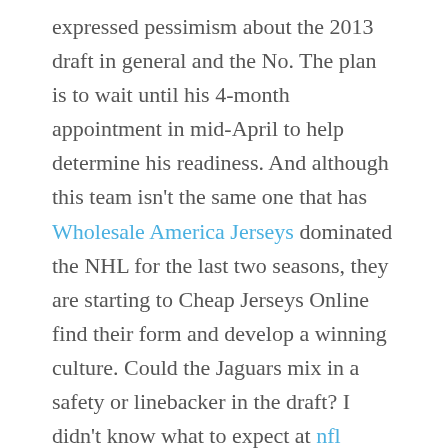expressed pessimism about the 2013 draft in general and the No. The plan is to wait until his 4-month appointment in mid-April to help determine his readiness. And although this team isn't the same one that has Wholesale America Jerseys dominated the NHL for the last two seasons, they are starting to Cheap Jerseys Online find their form and develop a winning culture. Could the Jaguars mix in a safety or linebacker in the draft? I didn't know what to expect at nfl jerseys outlet first, but now I really feel like it's a great idea and hopefully, we can kind of broaden it and bring Cheap Jerseys Online it into a bigger light.